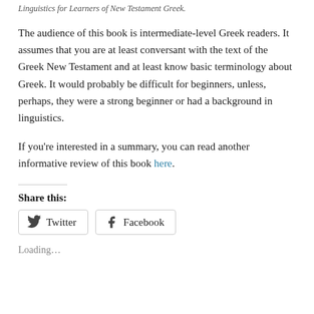Linguistics for Learners of New Testament Greek.
The audience of this book is intermediate-level Greek readers. It assumes that you are at least conversant with the text of the Greek New Testament and at least know basic terminology about Greek. It would probably be difficult for beginners, unless, perhaps, they were a strong beginner or had a background in linguistics.
If you're interested in a summary, you can read another informative review of this book here.
Share this:
Twitter Facebook
Loading…